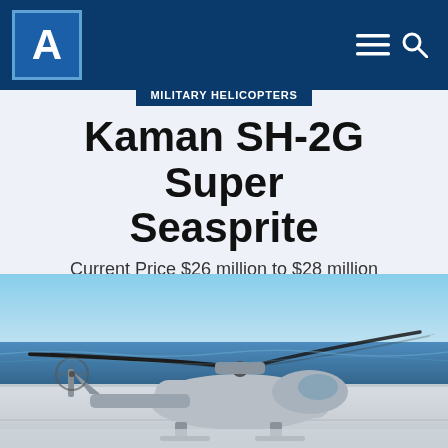A [logo] — navigation bar with menu and search icons
MILITARY HELICOPTERS
Kaman SH-2G Super Seasprite
Current Price $26 million to $28 million
[Figure (photo): Kaman SH-2G Super Seasprite helicopter on a ship deck with ocean and blue sky in background, viewed from rear-side angle showing rotor blades.]